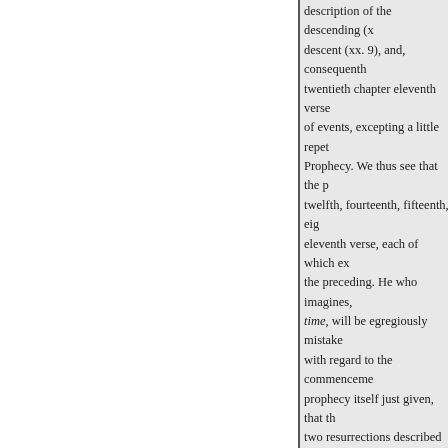description of the descending (x... descent (xx. 9), and, consequenth twentieth chapter eleventh verse of events, excepting a little repet Prophecy. We thus see that the p twelfth, fourteenth, fifteenth, eig eleventh verse, each of which ex the preceding. He who imagines, time, will be egregiously mistake with regard to the commenceme prophecy itself just given, that th two resurrections described at xx same time with them. For conver visiops into one, viz. those beginning with th ters; because that of the fourteen leaving out as introductory the fi which from the frequent mention The First Vision of St. John repr of the Christian æra, independen the same statute book, the New T Patriarch or Pope and Prince of